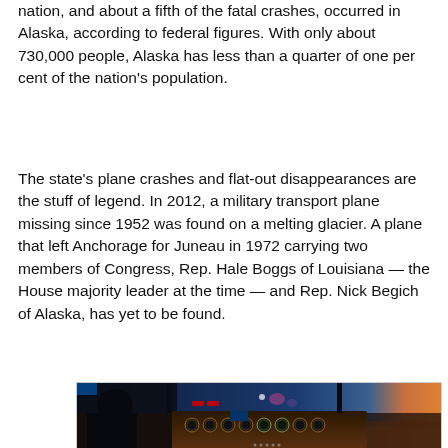nation, and about a fifth of the fatal crashes, occurred in Alaska, according to federal figures. With only about 730,000 people, Alaska has less than a quarter of one per cent of the nation's population.
The state's plane crashes and flat-out disappearances are the stuff of legend. In 2012, a military transport plane missing since 1952 was found on a melting glacier. A plane that left Anchorage for Juneau in 1972 carrying two members of Congress, Rep. Hale Boggs of Louisiana — the House majority leader at the time — and Rep. Nick Begich of Alaska, has yet to be found.
[Figure (photo): Cockpit interior photo taken at dusk or dawn. A pilot silhouette is visible on the left side. The instrument panel is illuminated with orange and yellow gauges and dials. The windshield shows a dark blue twilight sky with some pink/purple hues and an orange horizon on the right side.]